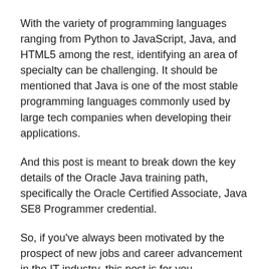With the variety of programming languages ranging from Python to JavaScript, Java, and HTML5 among the rest, identifying an area of specialty can be challenging. It should be mentioned that Java is one of the most stable programming languages commonly used by large tech companies when developing their applications.
And this post is meant to break down the key details of the Oracle Java training path, specifically the Oracle Certified Associate, Java SE8 Programmer credential.
So, if you've always been motivated by the prospect of new jobs and career advancement in the IT industry, this post is for you.
And without much ado, let's delve into the details of the